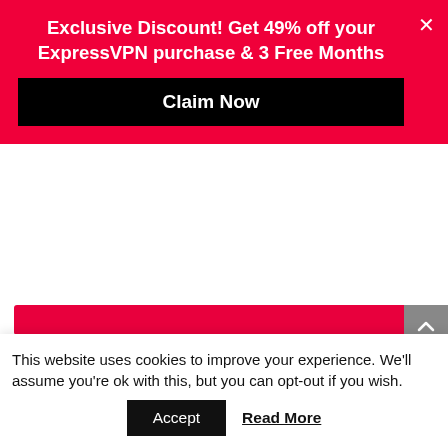[Figure (screenshot): Red promotional overlay banner for ExpressVPN with 49% discount offer and Claim Now button]
30-day money-back guarantee
Best VPN to watch UCI Track Cycling World Championships Online
[Figure (photo): Partial photo of a cycling track surface with a blue line visible]
This website uses cookies to improve your experience. We'll assume you're ok with this, but you can opt-out if you wish.
Accept
Read More